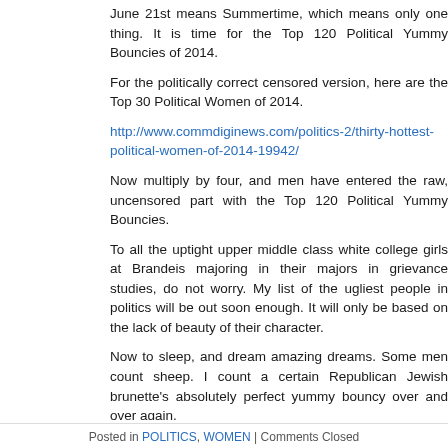June 21st means Summertime, which means only one thing. It is time for the Top 120 Political Yummy Bouncies of 2014.
For the politically correct censored version, here are the Top 30 Political Women of 2014.
http://www.commdiginews.com/politics-2/thirty-hottest-political-women-of-2014-19942/
Now multiply by four, and men have entered the raw, uncensored part with the Top 120 Political Yummy Bouncies.
To all the uptight upper middle class white college girls at Brandeis majoring in their majors in grievance studies, do not worry. My list of the ugliest people in politics will be out soon enough. It will only be based on the lack of beauty of their character.
Now to sleep, and dream amazing dreams. Some men count sheep. I count a certain Republican Jewish brunette's absolutely perfect yummy bouncy over and over again.
4...8...12...zzzzzzzzz
eric
Posted in POLITICS, WOMEN | Comments Closed